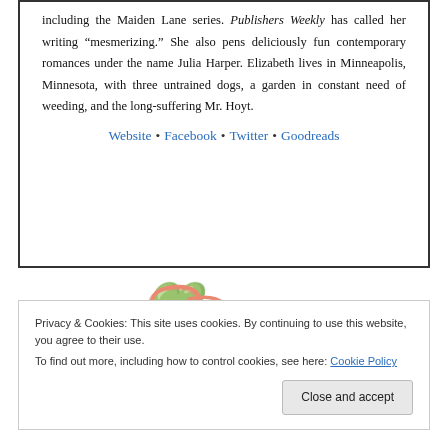including the Maiden Lane series. Publishers Weekly has called her writing “mesmerizing.” She also pens deliciously fun contemporary romances under the name Julia Harper. Elizabeth lives in Minneapolis, Minnesota, with three untrained dogs, a garden in constant need of weeding, and the long-suffering Mr. Hoyt.
Website • Facebook • Twitter • Goodreads
[Figure (logo): Decorative cursive logo graphic in coral/salmon color]
Privacy & Cookies: This site uses cookies. By continuing to use this website, you agree to their use.
To find out more, including how to control cookies, see here: Cookie Policy
Close and accept